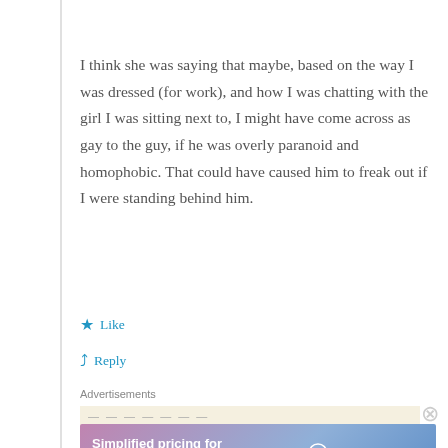I think she was saying that maybe, based on the way I was dressed (for work), and how I was chatting with the girl I was sitting next to, I might have come across as gay to the guy, if he was overly paranoid and homophobic. That could have caused him to freak out if I were standing behind him.
★ Like
↪ Reply
Advertisements
[Figure (screenshot): WordPress.com advertisement banner: 'Simplified pricing for everything you need.' with WordPress.com logo]
Advertisements
[Figure (screenshot): WordPress.com advertisement: 'Simplified pricing for everything you need.' with WordPress.com logo on gradient background]